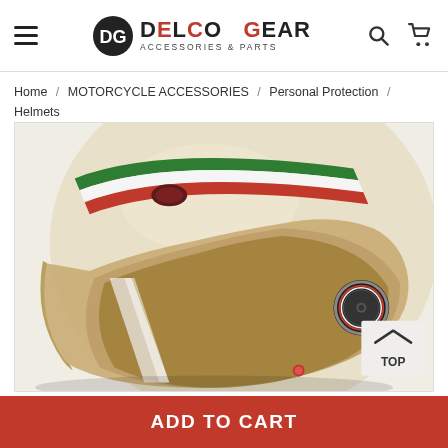Delco Gear - Accessories & Parts
Home / MOTORCYCLE ACCESSORIES / Personal Protection / Helmets
[Figure (photo): Close-up photo of an open-face motorcycle helmet in cream/ivory color with Italian flag stripe (green, white, red) along the top, chrome visor snap mechanism on the side, and tan leather interior visible through the open face. A 'TOP' back-to-top button is visible in the lower right corner of the image area.]
ADD TO CART